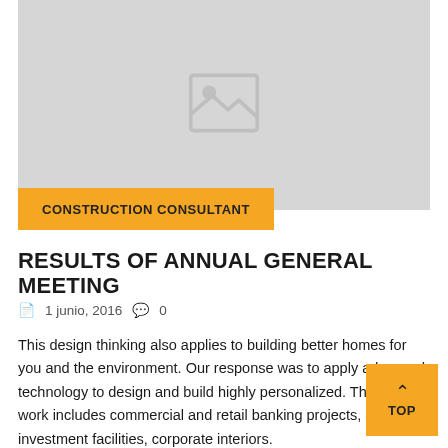[Figure (photo): Image placeholder with a grey background and a broken image icon in the center]
CONSTRUCTION CONSULTANT
RESULTS OF ANNUAL GENERAL MEETING
1 junio, 2016   0
This design thinking also applies to building better homes for you and the environment. Our response was to apply advanced technology to design and build highly personalized. TheBuilt's work includes commercial and retail banking projects, and investment facilities, corporate interiors.